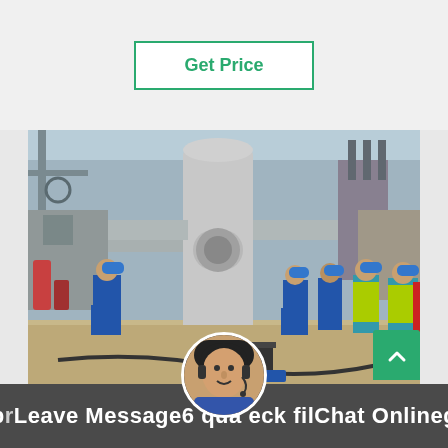Get Price
[Figure (photo): Workers in blue coveralls and hard hats standing around large industrial equipment (transformer/substation machinery) at an outdoor industrial facility. Several workers in safety vests are visible on the right side.]
pr Leave Message 6 qua eck fil Chat Online g